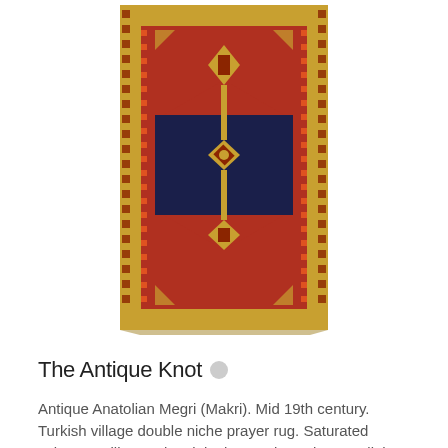[Figure (photo): Antique Anatolian Megri (Makri) prayer rug with red and dark blue geometric patterns, decorative borders with floral and geometric motifs, mid 19th century Turkish village rug on white background]
The Antique Knot
Antique Anatolian Megri (Makri). Mid 19th century. Turkish village double niche prayer rug. Saturated colors on silky wool. Original turquoise selvage. Slight ... read more
Ask about this
price:  On Request